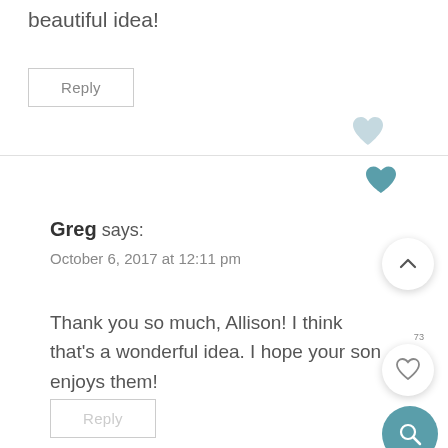beautiful idea!
Reply
Greg says:
October 6, 2017 at 12:11 pm
Thank you so much, Allison! I think that's a wonderful idea. I hope your son enjoys them!
Reply